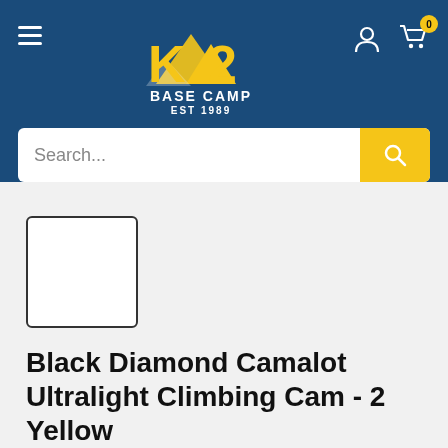K2 Base Camp EST 1989
[Figure (screenshot): Product thumbnail placeholder — empty white box with dark border]
Black Diamond Camalot Ultralight Climbing Cam - 2 Yellow
BLACK DIAMOND